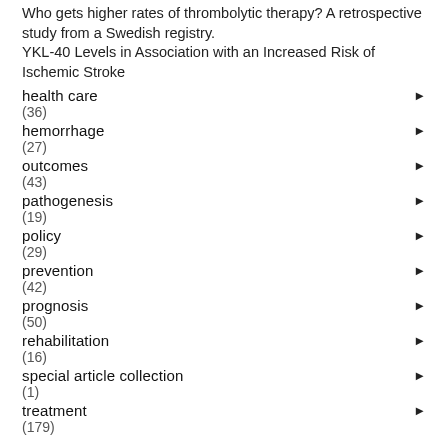Who gets higher rates of thrombolytic therapy? A retrospective study from a Swedish registry.
YKL-40 Levels in Association with an Increased Risk of Ischemic Stroke
health care (36)
hemorrhage (27)
outcomes (43)
pathogenesis (19)
policy (29)
prevention (42)
prognosis (50)
rehabilitation (16)
special article collection (1)
treatment (179)